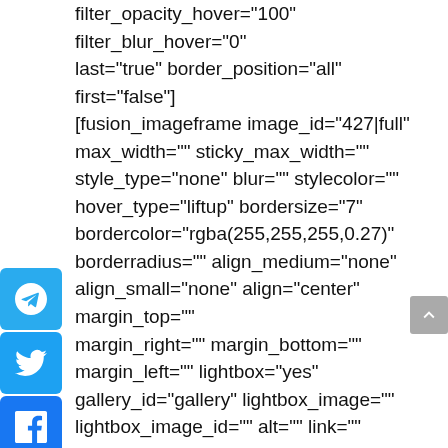filter_opacity_hover="100" filter_blur_hover="0" last="true" border_position="all" first="false"] [fusion_imageframe image_id="427|full" max_width="" sticky_max_width="" style_type="none" blur="" stylecolor="" hover_type="liftup" bordersize="7" bordercolor="rgba(255,255,255,0.27)" borderradius="" align_medium="none" align_small="none" align="center" margin_top="" margin_right="" margin_bottom="" margin_left="" lightbox="yes" gallery_id="gallery" lightbox_image="" lightbox_image_id="" alt="" link="" linktarget="_self" hide_on_mobile="small-visibility,medium-visibility,large-visibility" sticky_display="normal,sticky" class="" id=""
[Figure (infographic): Social sharing sidebar with icons for Telegram, Twitter, Facebook, WhatsApp, and Email]
[Figure (other): Scroll-to-top button (grey arrow pointing up)]